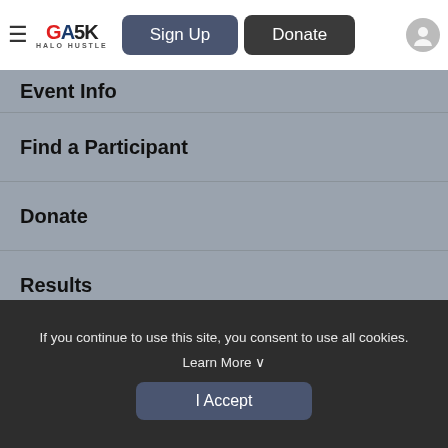GA5K HALO HUSTLE — Sign Up | Donate
Event Info
Find a Participant
Donate
Results
Running Time Race Services
Sign Up
If you continue to use this site, you consent to use all cookies. Learn More
I Accept